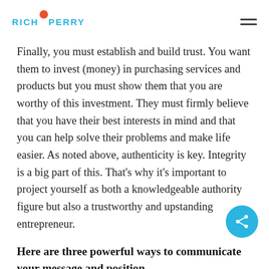RICH PERRY
Finally, you must establish and build trust. You want them to invest (money) in purchasing services and products but you must show them that you are worthy of this investment. They must firmly believe that you have their best interests in mind and that you can help solve their problems and make life easier. As noted above, authenticity is key. Integrity is a big part of this. That’s why it’s important to project yourself as both a knowledgeable authority figure but also a trustworthy and upstanding entrepreneur.
Here are three powerful ways to communicate your message and position